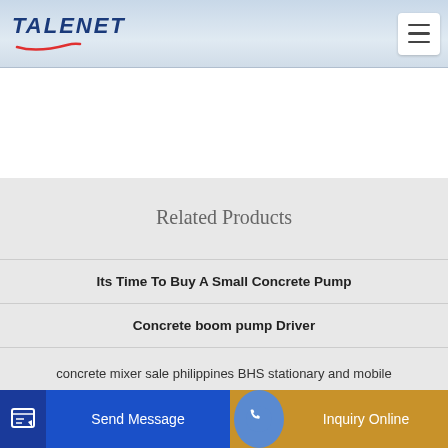TALENET
Related Products
Its Time To Buy A Small Concrete Pump
Concrete boom pump Driver
concrete mixer sale philippines BHS stationary and mobile
HBTS60 Diesel Concrete Pump
Send Message
Inquiry Online